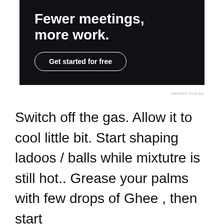[Figure (other): Advertisement banner with dark background showing text 'Fewer meetings, more work.' and a 'Get started for free' button]
REPORT THIS AD
Switch off the gas. Allow it to cool little bit. Start shaping ladoos / balls while mixtutre is still hot.. Grease your palms with few drops of Ghee , then start